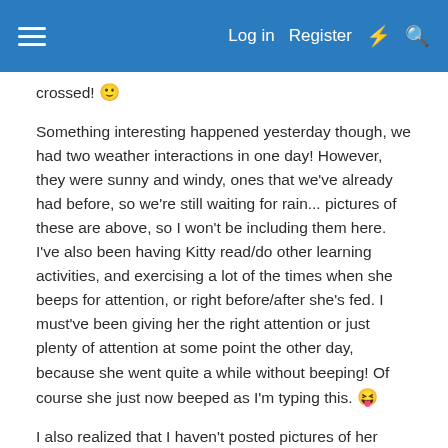Log in  Register
crossed! 🙂
Something interesting happened yesterday though, we had two weather interactions in one day! However, they were sunny and windy, ones that we've already had before, so we're still waiting for rain... pictures of these are above, so I won't be including them here. I've also been having Kitty read/do other learning activities, and exercising a lot of the times when she beeps for attention, or right before/after she's fed. I must've been giving her the right attention or just plenty of attention at some point the other day, because she went quite a while without beeping! Of course she just now beeped as I'm typing this. 😝
I also realized that I haven't posted pictures of her exercises yet, so they'll be below. She can also fail, which I've only had happen once so far, I'm guessing because her hunger hearts were getting low. I'll have to get pictures of those for a future